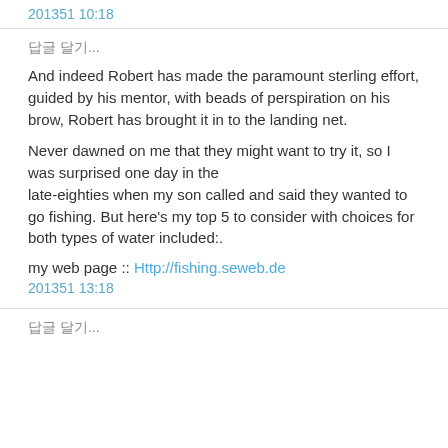2013年5月1日 10:18
답글 달기...
And indeed Robert has made the paramount sterling effort,
guided by his mentor, with beads of perspiration on his brow, Robert has brought it in to the landing net.
Never dawned on me that they might want to try it, so I was surprised one day in the
late-eighties when my son called and said they wanted to
go fishing. But here's my top 5 to consider with choices for both types of water included:.
my web page :: Http://fishing.seweb.de
2013年5月1日 13:18
답글 달기...